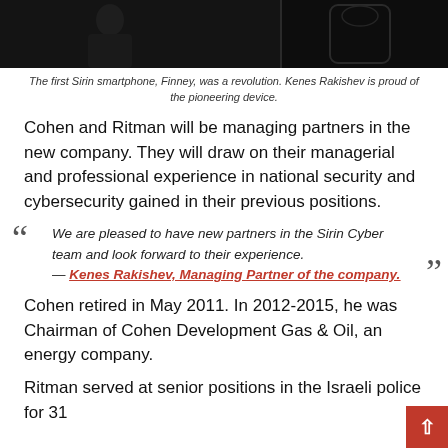[Figure (photo): Dark photo showing a person (silhouette) and what appears to be a smartphone device on a dark background]
The first Sirin smartphone, Finney, was a revolution. Kenes Rakishev is proud of the pioneering device.
Cohen and Ritman will be managing partners in the new company. They will draw on their managerial and professional experience in national security and cybersecurity gained in their previous positions.
We are pleased to have new partners in the Sirin Cyber team and look forward to their experience. — Kenes Rakishev, Managing Partner of the company.
Cohen retired in May 2011. In 2012-2015, he was Chairman of Cohen Development Gas & Oil, an energy company.
Ritman served at senior positions in the Israeli police for 31